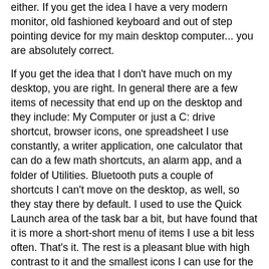either.  If you get the idea I have a very modern monitor, old fashioned keyboard and out of step pointing device for my main desktop computer... you are absolutely correct.
If you get the idea that I don't have much on my desktop, you are right.  In general there are a few items of necessity that end up on the desktop and they include: My Computer or just a C: drive shortcut, browser icons, one spreadsheet I use constantly, a writer application, one calculator that can do a few math shortcuts, an alarm app, and a folder of Utilities.  Bluetooth puts a couple of shortcuts I can't move on the desktop, as well, so they stay there by default.  I used to use the Quick Launch area of the task bar a bit, but have found that it is more a short-short menu of items I use a bit less often.   That's it.  The rest is a pleasant blue with high contrast to it and the smallest icons I can use for the screen resolution.  The status bar is the equivalent of the computer items of interest and letting me know that the network is connected, battery or UPS system is OK, and a very few other things to let me know things are working well.  There are a total of 12 items there and if I got rid of the Bluetooth I could move that down to 10 items.